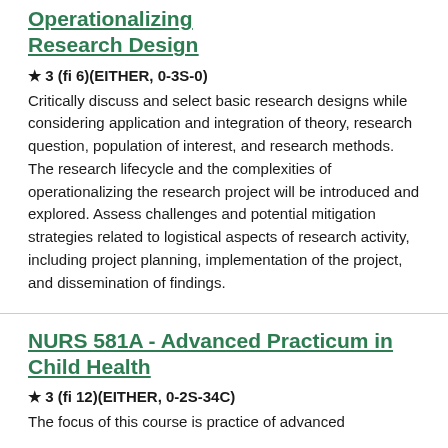Operationalizing Research Design
★ 3 (fi 6)(EITHER, 0-3S-0)
Critically discuss and select basic research designs while considering application and integration of theory, research question, population of interest, and research methods. The research lifecycle and the complexities of operationalizing the research project will be introduced and explored. Assess challenges and potential mitigation strategies related to logistical aspects of research activity, including project planning, implementation of the project, and dissemination of findings.
NURS 581A - Advanced Practicum in Child Health
★ 3 (fi 12)(EITHER, 0-2S-34C)
The focus of this course is practice of advanced